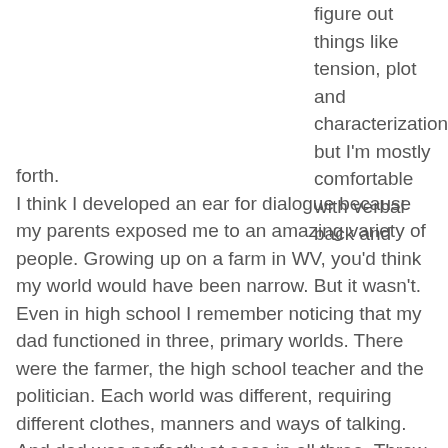figure out things like tension, plot and characterization, but I'm mostly comfortable with verbal back and forth.
I think I developed an ear for dialogue because my parents exposed me to an amazing variety of people. Growing up on a farm in WV, you'd think my world would have been narrow. But it wasn't. Even in high school I remember noticing that my dad functioned in three, primary worlds. There were the farmer, the high school teacher and the politician. Each world was different, requiring different clothes, manners and ways of talking. And dad was perfectly at ease in all three. Throw in my mom as nurse and some neighbors from Yugoslavia and I had quite a cornucopia of dialogue to internalize.